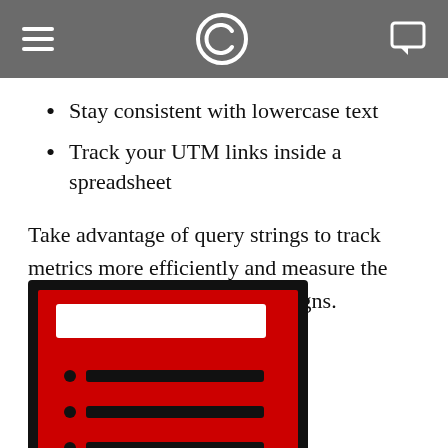Stay consistent with lowercase text
Track your UTM links inside a spreadsheet
Take advantage of query strings to track metrics more efficiently and measure the effectiveness of certain campaigns.
[Figure (illustration): Illustration of a red spreadsheet or form with a white input bar at the top and three bullet-point rows below, all on a red background with a black border.]